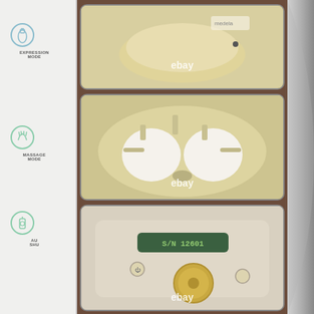[Figure (photo): Left side panel of a product box showing icons and text labels: Expression Mode icon (bottle), Massage Mode icon (hand), and Auto Shut-off icon. Partially visible white cardboard box edge.]
[Figure (photo): Top photo: Close-up of a Medela breast pump unit top view showing the cream/yellow colored device body with brand text visible. eBay watermark overlay.]
[Figure (photo): Middle photo: Top-down view of Medela breast pump showing two white oval breast shields/flanges mounted on the cream-colored oval pump body. eBay watermark overlay.]
[Figure (photo): Bottom photo: Front control panel of Medela breast pump showing a green LCD display reading 'S/N 12601', power button, a large dial/knob, and a smaller button. eBay watermark overlay.]
[Figure (photo): Right edge: Partially visible gray curved object (possibly another product or packaging).]